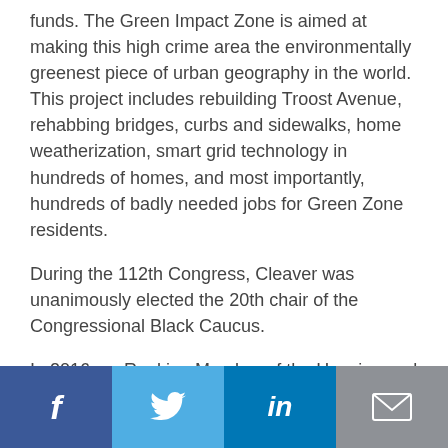funds. The Green Impact Zone is aimed at making this high crime area the environmentally greenest piece of urban geography in the world. This project includes rebuilding Troost Avenue, rehabbing bridges, curbs and sidewalks, home weatherization, smart grid technology in hundreds of homes, and most importantly, hundreds of badly needed jobs for Green Zone residents.
During the 112th Congress, Cleaver was unanimously elected the 20th chair of the Congressional Black Caucus.
In 2016, as Ranking Member of the Housing and Insurance Subcommittee, Cleaver successfully co-authored the largest sweeping reform bill on housing programs in 20 years, the Housing Opportunity Through Modernization Act, a bipartisan comprehensive housing bill that passed into law with a unanimous vote.
[Figure (infographic): Social sharing bar with four buttons: Facebook (dark blue, f icon), Twitter (light blue, bird icon), LinkedIn (blue, in icon), Email (grey, envelope icon)]